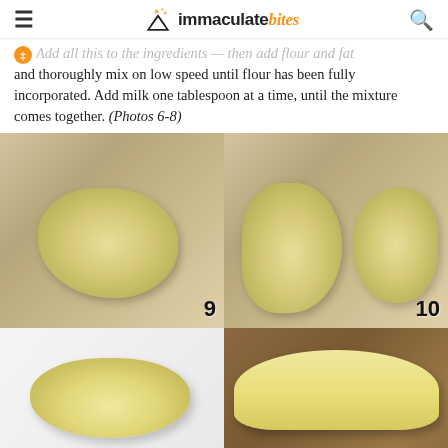immaculate bites
and thoroughly mix on low speed until flour has been fully incorporated. Add milk one tablespoon at a time, until the mixture comes together. (Photos 6-8)
[Figure (photo): Photo 9: A ball of pale yellow dough on a floured wooden surface]
[Figure (photo): Photo 10: Two pieces of dough on a floured wooden surface]
[Figure (photo): Photo 11: A smooth rounded dough ball on plastic wrap]
[Figure (photo): Photo 12: A flattened disc of dough on a wooden board]